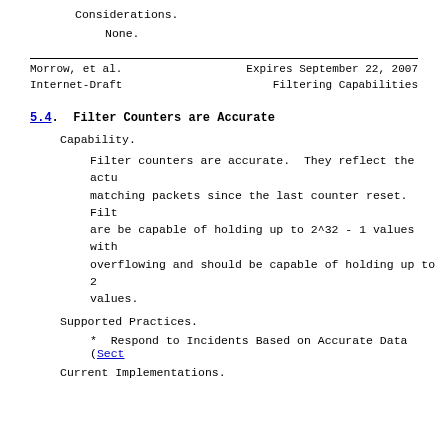Considerations.
None.
Morrow, et al.          Expires September 22, 2007
Internet-Draft          Filtering Capabilities
5.4.  Filter Counters are Accurate
Capability.
Filter counters are accurate.  They reflect the actu matching packets since the last counter reset.  Filt are be capable of holding up to 2^32 - 1 values with overflowing and should be capable of holding up to 2 values.
Supported Practices.
*  Respond to Incidents Based on Accurate Data (Sect
Current Implementations.